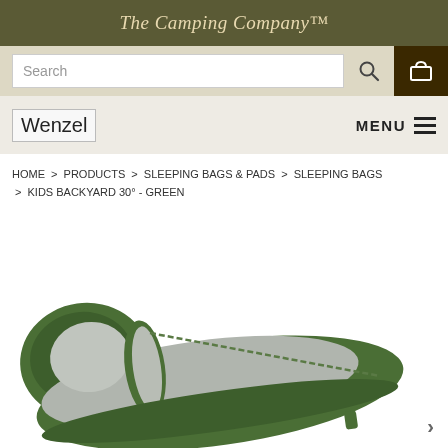The Camping Company™
[Figure (screenshot): Search bar with magnifying glass icon and shopping cart button]
[Figure (logo): Wenzel logo with MENU hamburger button]
HOME > PRODUCTS > SLEEPING BAGS & PADS > SLEEPING BAGS > KIDS BACKYARD 30° - GREEN
[Figure (photo): Green kids sleeping bag unzipped showing grey interior lining, displayed at an angle on white background]